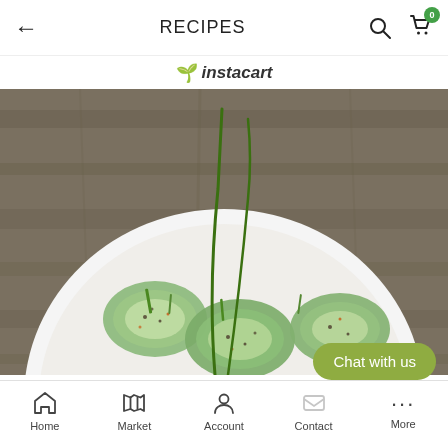← RECIPES 🔍 🛍 0
🌱instacart
[Figure (photo): Top-down photo of a white bowl containing sliced cucumbers with sesame seeds, chili flakes, and chives on a wooden table background]
Chat with us
Home | Market | Account | Contact | More